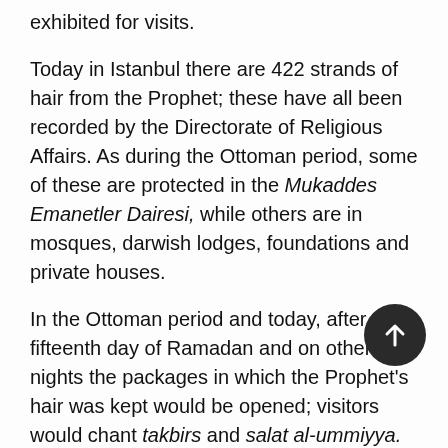exhibited for visits.
Today in Istanbul there are 422 strands of hair from the Prophet; these have all been recorded by the Directorate of Religious Affairs. As during the Ottoman period, some of these are protected in the Mukaddes Emanetler Dairesi, while others are in mosques, darwish lodges, foundations and private houses.
In the Ottoman period and today, after the fifteenth day of Ramadan and on other holy nights the packages in which the Prophet's hair was kept would be opened; visitors would chant takbirs and salat al-ummiyya. Respect shown to cases either by uttering a salawat